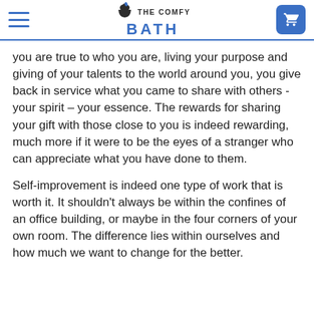THE COMFY BATH
you are true to who you are, living your purpose and giving of your talents to the world around you, you give back in service what you came to share with others -your spirit – your essence. The rewards for sharing your gift with those close to you is indeed rewarding, much more if it were to be the eyes of a stranger who can appreciate what you have done to them.
Self-improvement is indeed one type of work that is worth it. It shouldn't always be within the confines of an office building, or maybe in the four corners of your own room. The difference lies within ourselves and how much we want to change for the better.